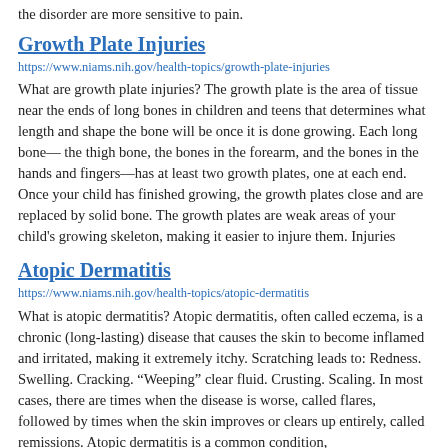the disorder are more sensitive to pain.
Growth Plate Injuries
https://www.niams.nih.gov/health-topics/growth-plate-injuries
What are growth plate injuries? The growth plate is the area of tissue near the ends of long bones in children and teens that determines what length and shape the bone will be once it is done growing. Each long bone— the thigh bone, the bones in the forearm, and the bones in the hands and fingers—has at least two growth plates, one at each end. Once your child has finished growing, the growth plates close and are replaced by solid bone. The growth plates are weak areas of your child's growing skeleton, making it easier to injure them. Injuries
Atopic Dermatitis
https://www.niams.nih.gov/health-topics/atopic-dermatitis
What is atopic dermatitis? Atopic dermatitis, often called eczema, is a chronic (long-lasting) disease that causes the skin to become inflamed and irritated, making it extremely itchy. Scratching leads to: Redness. Swelling. Cracking. “Weeping” clear fluid. Crusting. Scaling. In most cases, there are times when the disease is worse, called flares, followed by times when the skin improves or clears up entirely, called remissions. Atopic dermatitis is a common condition,